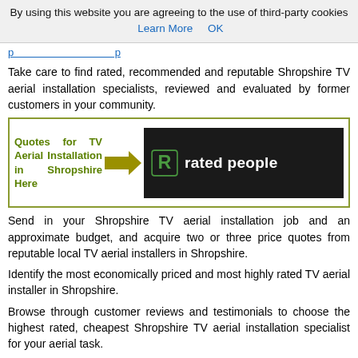By using this website you are agreeing to the use of third-party cookies  Learn More    OK
Take care to find rated, recommended and reputable Shropshire TV aerial installation specialists, reviewed and evaluated by former customers in your community.
[Figure (infographic): Green-bordered ad box with green bold text 'Quotes for TV Aerial Installation in Shropshire Here', a gold/olive arrow pointing right, and a black 'rated people' logo panel]
Send in your Shropshire TV aerial installation job and an approximate budget, and acquire two or three price quotes from reputable local TV aerial installers in Shropshire.
Identify the most economically priced and most highly rated TV aerial installer in Shropshire.
Browse through customer reviews and testimonials to choose the highest rated, cheapest Shropshire TV aerial installation specialist for your aerial task.